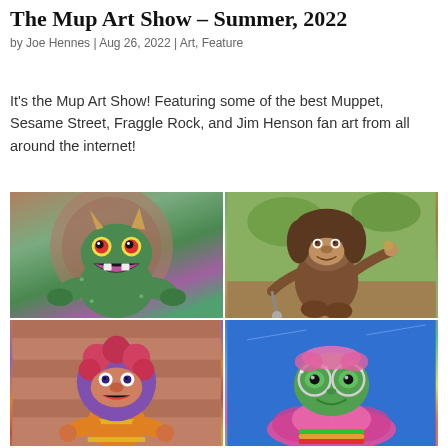The Mup Art Show – Summer, 2022
by Joe Hennes | Aug 26, 2022 | Art, Feature
It's the Mup Art Show! Featuring some of the best Muppet, Sesame Street, Fraggle Rock, and Jim Henson fan art from all around the internet!
[Figure (photo): A 2x2 grid of four fan-art photos of Muppet/Jim Henson characters: top-left shows a green monster with horns and pink mouth, top-right shows a brown bigfoot-like creature in a garden, bottom-left shows a purple and orange Fraggle-like puppet, bottom-right shows a green frog character with pink feathers on a blue background.]